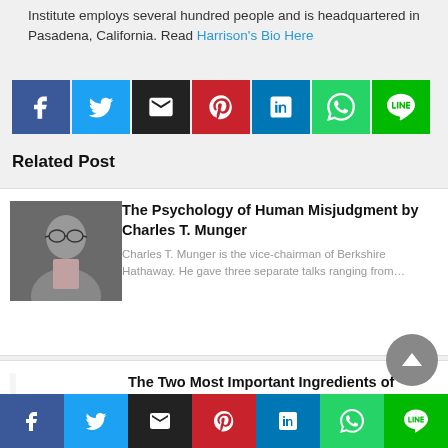Institute employs several hundred people and is headquartered in Pasadena, California. Read Harrison's Bio Here
[Figure (infographic): Social share buttons: Facebook, Twitter, Email, Pinterest, LinkedIn, WhatsApp, LINE]
Related Post
[Figure (photo): Photo of Charles T. Munger, elderly man with glasses]
The Psychology of Human Misjudgment by Charles T. Munger
Charles T. Munger is the vice-chairman of Berkshire Hathaway. He gave three separate talks ranging from…
[Figure (photo): Image with handwritten text 'success' on white background]
The Two Most Important Ingredients of Success
[Figure (infographic): Social share buttons bottom bar: Facebook, Twitter, Email, Pinterest, LinkedIn, WhatsApp, LINE]